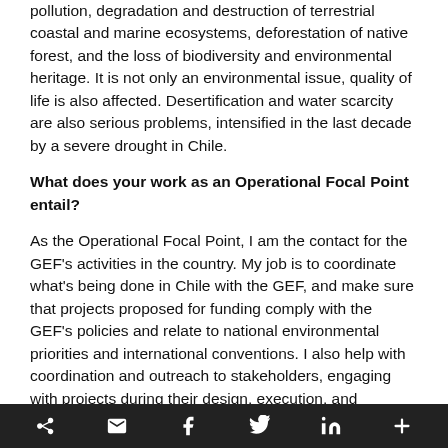pollution, degradation and destruction of terrestrial coastal and marine ecosystems, deforestation of native forest, and the loss of biodiversity and environmental heritage. It is not only an environmental issue, quality of life is also affected. Desertification and water scarcity are also serious problems, intensified in the last decade by a severe drought in Chile.
What does your work as an Operational Focal Point entail?
As the Operational Focal Point, I am the contact for the GEF's activities in the country. My job is to coordinate what's being done in Chile with the GEF, and make sure that projects proposed for funding comply with the GEF's policies and relate to national environmental priorities and international conventions. I also help with coordination and outreach to stakeholders, engaging with projects during their design, execution, and evaluation phases.
social share bar with icons: share, email, facebook, twitter, linkedin, more